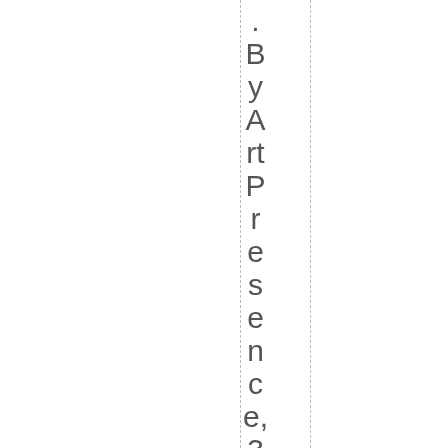. By ArtPresence, 365 contributed p